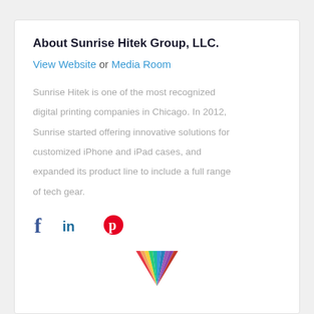About Sunrise Hitek Group, LLC.
View Website or Media Room
Sunrise Hitek is one of the most recognized digital printing companies in Chicago. In 2012, Sunrise started offering innovative solutions for customized iPhone and iPad cases, and expanded its product line to include a full range of tech gear.
[Figure (infographic): Social media icons: Facebook (f), LinkedIn (in), Pinterest (circular P logo in red)]
[Figure (logo): Colorful fan/rainbow logo at bottom center]